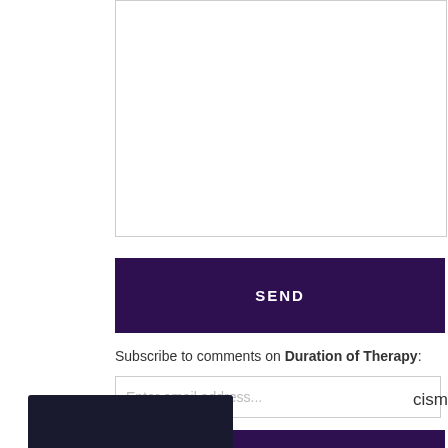[Figure (screenshot): Empty comment text area box with border]
[Figure (screenshot): Dark purple SEND button]
Subscribe to comments on Duration of Therapy:
[Figure (screenshot): Email input field with placeholder 'Enter email address...']
[Figure (screenshot): Dark purple SUBSCRIBE button]
[Figure (screenshot): Purple WEBINARS bar]
[Figure (screenshot): Modal popup with email entry field and 'I AM NOT A ROBOT >>' button, with red X close button. Contains label 'Enter your email address here:']